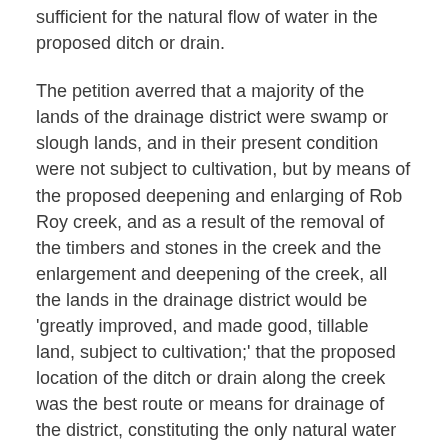sufficient for the natural flow of water in the proposed ditch or drain.
The petition averred that a majority of the lands of the drainage district were swamp or slough lands, and in their present condition were not subject to cultivation, but by means of the proposed deepening and enlarging of Rob Roy creek, and as a result of the removal of the timbers and stones in the creek and the enlargement and deepening of the creek, all the lands in the drainage district would be 'greatly improved, and made good, tillable land, subject to cultivation;' that the proposed location of the ditch or drain along the creek was the best route or means for drainage of the district, constituting the only natural water course of the drainage district, and affording the only natural outlet or way of drainage of the lands to make them tillable; that if said improvement and enlargement of the ditch was made and the timbers and stones removed from the creek at the point of crossing, all of the lands of the district would be made